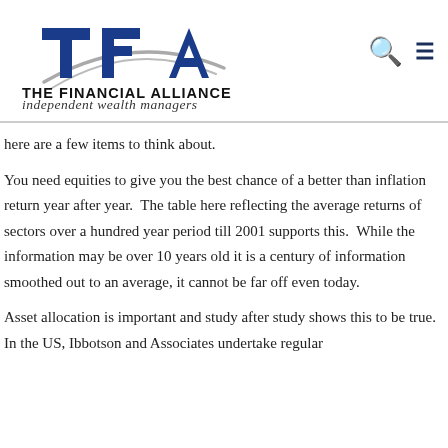[Figure (logo): The Financial Alliance logo — TFA lettering in blue with swoosh arcs, text 'THE FINANCIAL ALLIANCE' in bold black, tagline 'independent wealth managers' in italic]
here are a few items to think about.
You need equities to give you the best chance of a better than inflation return year after year. The table here reflecting the average returns of sectors over a hundred year period till 2001 supports this. While the information may be over 10 years old it is a century of information smoothed out to an average, it cannot be far off even today.
Asset allocation is important and study after study shows this to be true. In the US, Ibbotson and Associates undertake regular